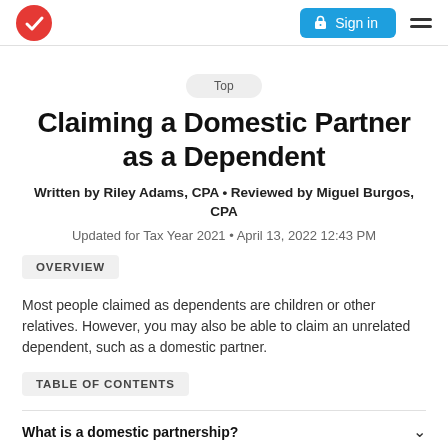Sign in
Claiming a Domestic Partner as a Dependent
Written by Riley Adams, CPA • Reviewed by Miguel Burgos, CPA
Updated for Tax Year 2021 • April 13, 2022 12:43 PM
OVERVIEW
Most people claimed as dependents are children or other relatives. However, you may also be able to claim an unrelated dependent, such as a domestic partner.
TABLE OF CONTENTS
What is a domestic partnership?